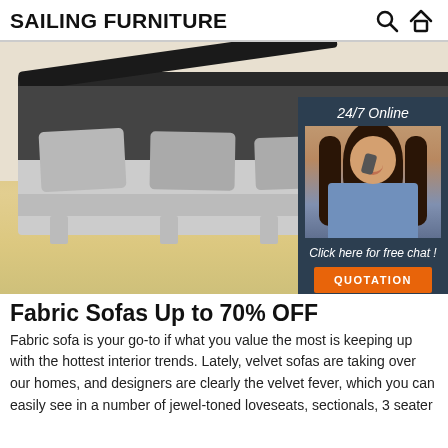SAILING FURNITURE
[Figure (photo): A grey fabric storage sofa with open storage compartment showing pillows, on a light wood floor. Overlay chat widget with '24/7 Online' label, a customer service representative photo, 'Click here for free chat!' text, and an orange QUOTATION button.]
Fabric Sofas Up to 70% OFF
Fabric sofa is your go-to if what you value the most is keeping up with the hottest interior trends. Lately, velvet sofas are taking over our homes, and designers are clearly the velvet fever, which you can easily see in a number of jewel-toned loveseats, sectionals, 3 seater